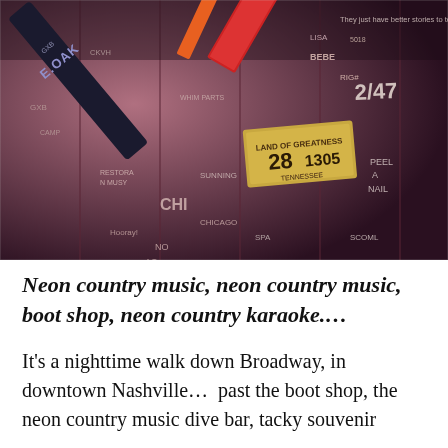[Figure (photo): A wooden wall covered in graffiti signatures and markings in purple/dark tones, with items including what appears to be a guitar neck labeled 'E.OAK', a red book, and a Tennessee license plate (28 1905), and text scrawlings including 'BEBE', 'They just have better stories to tell', 'CHI', 'CHICAGO', and many other names and initials.]
Neon country music, neon country music, boot shop, neon country karaoke.…
It's a nighttime walk down Broadway, in downtown Nashville…  past the boot shop, the neon country music dive bar, tacky souvenir